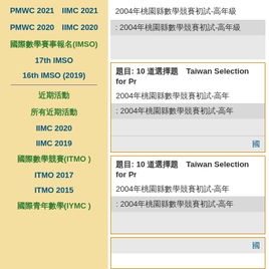PMWC 2021　IIMC 2021
PMWC 2020　IIMC 2020
國際數學賽事報名(IMSO)
17th IMSO
16th IMSO (2019)
近期活動
所有近期活動
IIMC 2020
IIMC 2019
國際數學競賽(ITMO )
ITMO 2017
ITMO 2015
國際青年數學(IYMC )
2004年桃園縣數學競賽初試-高年級
: 2004年桃園縣數學競賽初試-高年級
題目: 10 道選擇題　Taiwan Selection for Primary
2004年桃園縣數學競賽初試-高年
: 2004年桃園縣數學競賽初試-高年
題目: 10 道選擇題　Taiwan Selection for Primary
2004年桃園縣數學競賽初試-高年
: 2004年桃園縣數學競賽初試-高年